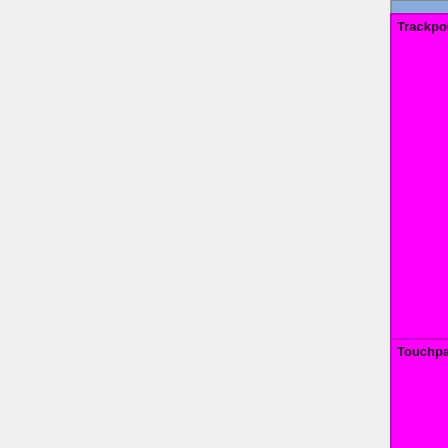| Feature | Status |
| --- | --- |
| Trackpoint | OK=lime | TODO=red | No=red | WIP=orange | Untested=yellow | N/A=lightgray yellow }}" | N/A |
| Touchpad | OK=lime | TODO=red | No=red | WIP=orange | Untested=yellow | N/A=lightgray yellow }}" | N/A |
| Fn Hotkeys | OK=lime | TODO=red | No=red | WIP=orange | Untested=yellow | N/A=lightgra yellow }}" | N/A |
| Fingerprint Reader | OK=lime | TODO=red |